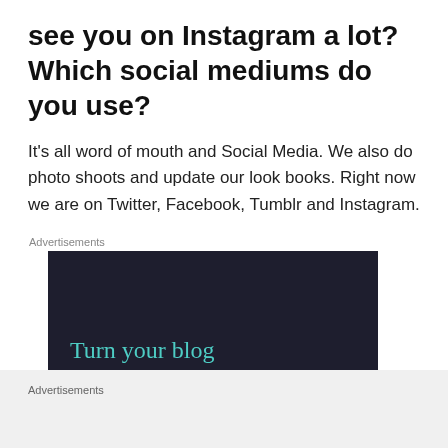see you on Instagram a lot? Which social mediums do you use?
It's all word of mouth and Social Media. We also do photo shoots and update our look books. Right now we are on Twitter, Facebook, Tumblr and Instagram.
Advertisements
[Figure (screenshot): Dark advertisement banner with teal text reading 'Turn your blog into a money-making online course.' with a teal button at the bottom.]
Advertisements